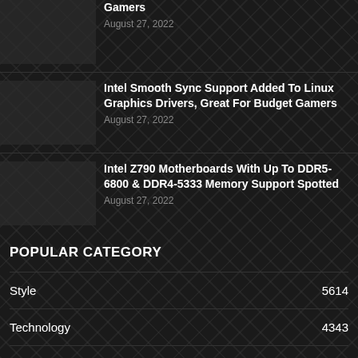Gamers
August 27, 2022
Intel Smooth Sync Support Added To Linux Graphics Drivers, Great For Budget Gamers
August 27, 2022
Intel Z790 Motherboards With Up To DDR5-6800 & DDR4-5333 Memory Support Spotted
August 27, 2022
POPULAR CATEGORY
Style 5614
Technology 4343
Gaming 3006